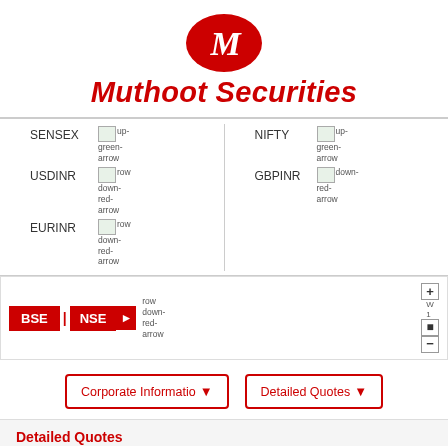[Figure (logo): Muthoot Securities logo with red oval M emblem and italic red brand name text]
SENSEX [up-green-arrow image] NIFTY [up-green-arrow image]
USDINR [down-red-arrow image] GBPINR [down-red-arrow image]
EURINR [down-red-arrow image]
BSE | NSE ▶ [zoom controls +/1/-]
Corporate Information▼
Detailed Quotes▼
Detailed Quotes